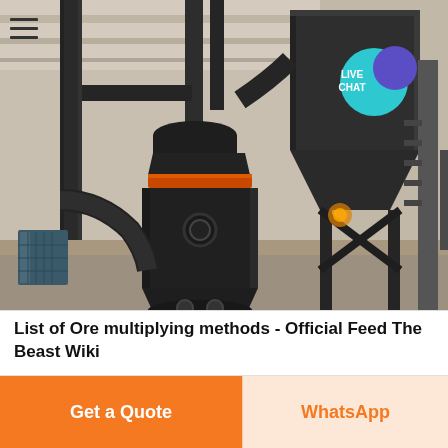[Figure (photo): Industrial grinding mill machine (Raymond mill / ore processing mill) inside a factory building. Large black cylindrical mill in center with orange band, connected pipes and ducts, large rectangular dust collector hopper structure on the right with metal staircase scaffolding. Concrete floor and industrial ceiling visible. Live Chat bubble overlay in top right corner.]
List of Ore multiplying methods - Official Feed The Beast Wiki
Get a Quote
WhatsApp